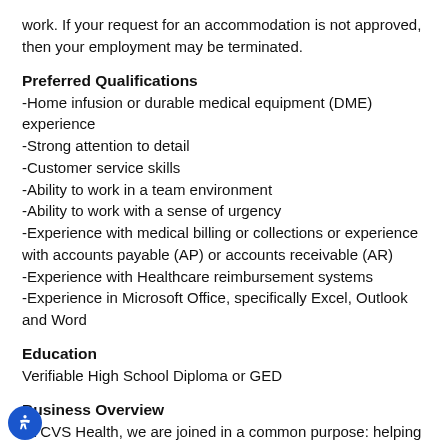work. If your request for an accommodation is not approved, then your employment may be terminated.
Preferred Qualifications
-Home infusion or durable medical equipment (DME) experience
-Strong attention to detail
-Customer service skills
-Ability to work in a team environment
-Ability to work with a sense of urgency
-Experience with medical billing or collections or experience with accounts payable (AP) or accounts receivable (AR)
-Experience with Healthcare reimbursement systems
-Experience in Microsoft Office, specifically Excel, Outlook and Word
Education
Verifiable High School Diploma or GED
Business Overview
At CVS Health, we are joined in a common purpose: helping